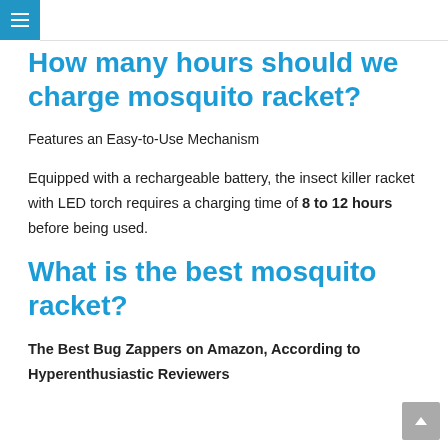≡
How many hours should we charge mosquito racket?
Features an Easy-to-Use Mechanism
Equipped with a rechargeable battery, the insect killer racket with LED torch requires a charging time of 8 to 12 hours before being used.
What is the best mosquito racket?
The Best Bug Zappers on Amazon, According to Hyperenthusiastic Reviewers